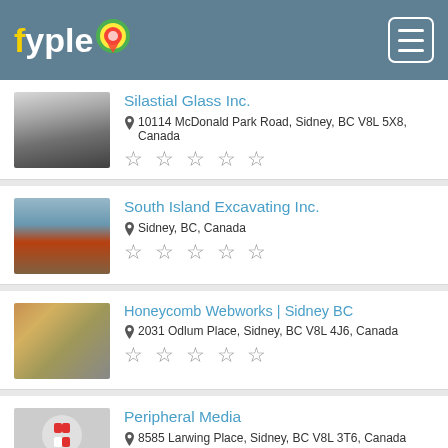fyple
Silastial Glass Inc.
10114 McDonald Park Road, Sidney, BC V8L 5X8, Canada
South Island Excavating Inc.
Sidney, BC, Canada
Honeycomb Webworks | Sidney BC
2031 Odlum Place, Sidney, BC V8L 4J6, Canada
Peripheral Media
8585 Larwing Place, Sidney, BC V8L 3T6, Canada